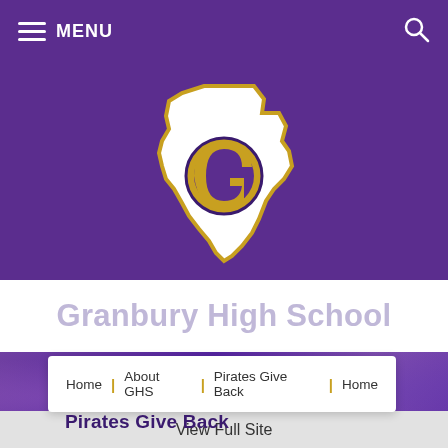MENU
[Figure (logo): Granbury High School logo: Texas state outline with a stylized 'G' in gold and purple, outlined in gold, on a purple background]
Granbury High School
[Figure (photo): Background photo of students in purple, partially obscured by purple overlay]
Home | About GHS | Pirates Give Back | Home
Pirates Give Back
View Full Site